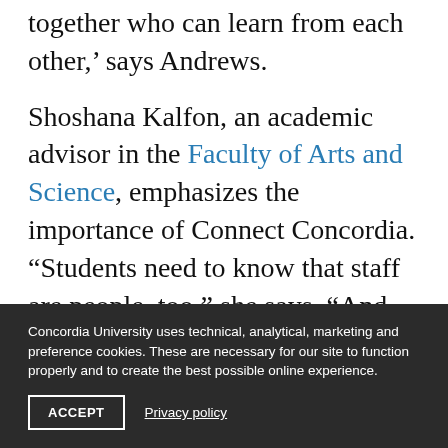together who can learn from each other,' says Andrews.
Shoshana Kalfon, an academic advisor in the Faculty of Arts and Science, emphasizes the importance of Connect Concordia. “Students need to know that staff are people, too,” she says. “And staff need to see students outside of the regular interactions we have with them.”
Concordia University uses technical, analytical, marketing and preference cookies. These are necessary for our site to function properly and to create the best possible online experience.
ACCEPT
Privacy policy